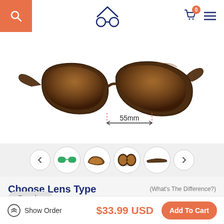Search | Logo | Cart 0 | Menu
[Figure (photo): Tortoise shell brown sunglasses shown at an angle with 55mm lens width measurement indicated by a dashed line and arrows below the lenses]
[Figure (photo): Thumbnail carousel showing multiple views of the sunglasses: front view, side angle, top view, temple view, with left and right navigation arrows]
Choose Lens Type
(What's The Difference?)
Regular
Show Order
$33.99 USD
Add To Cart